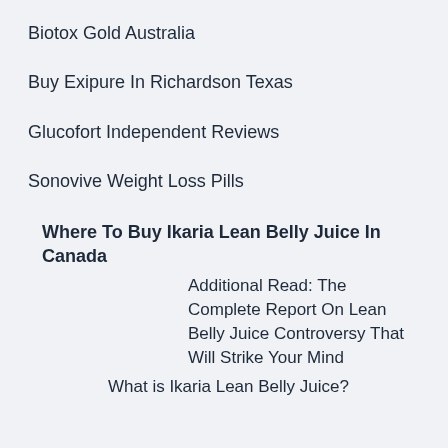Biotox Gold Australia
Buy Exipure In Richardson Texas
Glucofort Independent Reviews
Sonovive Weight Loss Pills
Where To Buy Ikaria Lean Belly Juice In Canada
Additional Read: The Complete Report On Lean Belly Juice Controversy That Will Strike Your Mind
What is Ikaria Lean Belly Juice?